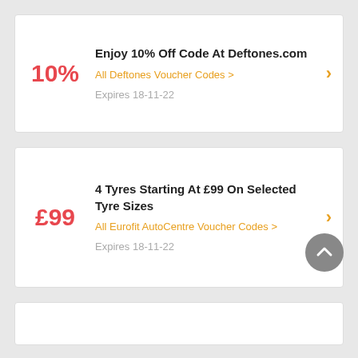10%
Enjoy 10% Off Code At Deftones.com
All Deftones Voucher Codes >
Expires 18-11-22
£99
4 Tyres Starting At £99 On Selected Tyre Sizes
All Eurofit AutoCentre Voucher Codes >
Expires 18-11-22